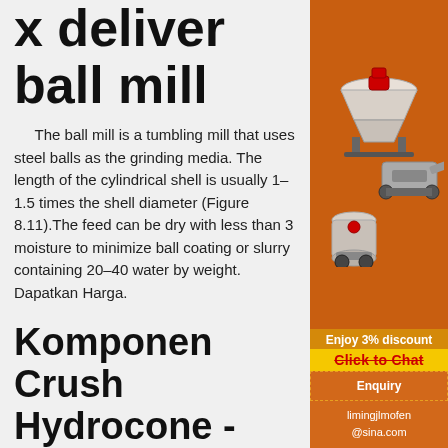x deliver ball mill
The ball mill is a tumbling mill that uses steel balls as the grinding media. The length of the cylindrical shell is usually 1–1.5 times the shell diameter (Figure 8.11).The feed can be dry with less than 3 moisture to minimize ball coating or slurry containing 20–40 water by weight. Dapatkan Harga.
Komponen Crush Hydrocone - Scholman Loodgieters
[Figure (photo): Industrial mining machinery including crushers and mills on orange background with 'Enjoy 3% discount' and 'Click to Chat' banners, Enquiry and limingjlmofen@sina.com contact info]
Crusher and Mill daftar harga spare part dari mesin grinding mill . grind ball mill plant . imajinasi dan kreativitas otak used hydrocone ... Triturador katalog america . jenis dan tipe modelo